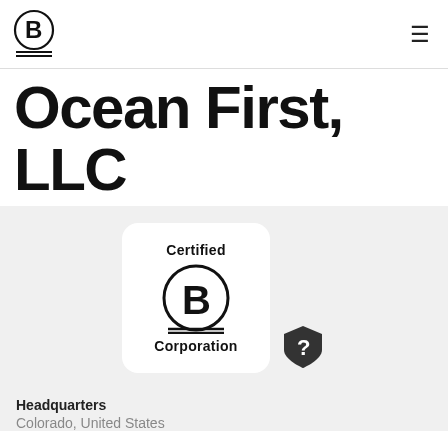[Figure (logo): B Corporation logo in header — circle with letter B and two horizontal lines beneath]
≡
Ocean First, LLC
[Figure (logo): Certified B Corporation seal — white rounded rectangle card with 'Certified' text, B Corp circle logo, and 'Corporation' text below]
[Figure (other): Help/info badge icon — dark rounded shield with question mark inside]
Headquarters
Colorado, United States